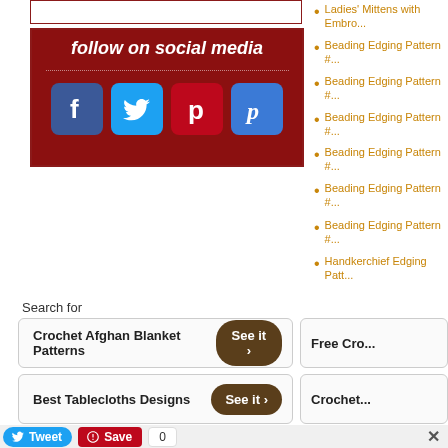[Figure (infographic): Social media follow banner with dark red background showing 'follow on social media' text and icons for Facebook, Twitter, Pinterest, and Paypal/Polyvore]
Ladies' Mittens with Embr...
Beading Edging Pattern #...
Beading Edging Pattern #...
Beading Edging Pattern #...
Beading Edging Pattern #...
Beading Edging Pattern #...
Beading Edging Pattern #...
Handkerchief Edging Patt...
Search for
Crochet Afghan Blanket Patterns
Best Tablecloths Designs
Free Cro...
Crochet...
Tweet
Save
0